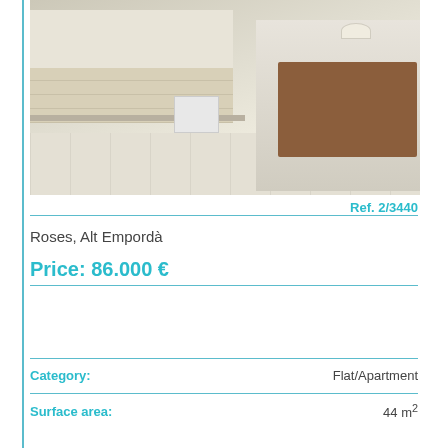[Figure (photo): Interior photo of a kitchen and dining area. White kitchen cabinets with tile backsplash, gas hob, washing machine, and a dining table with wooden chairs visible in the background.]
Ref. 2/3440
Roses, Alt Empordà
Price: 86.000 €
| Category: | Flat/Apartment |
| --- | --- |
| Surface area: | 44 m² |